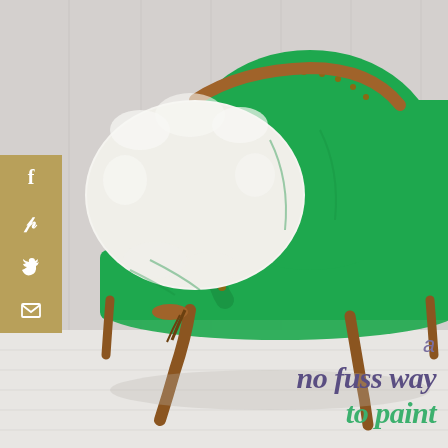[Figure (photo): A vintage wingback chair upholstered in bright emerald green fabric with brass nailhead trim and carved wooden legs, styled with a white fluffy pillow, photographed against a light grey panelled wall with white painted floor]
[Figure (infographic): Vertical social sharing sidebar with gold/tan background showing Facebook (f), Pinterest (p), Twitter bird, and email envelope icons in white]
a no fuss way to paint